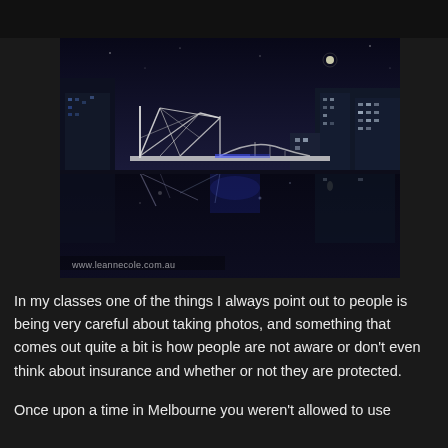[Figure (photo): Night photograph of a illuminated truss bridge reflected in still dark water, with city buildings lit up in the background and a small moon visible in the dark blue sky. Watermark reads www.leannecole.com.au]
In my classes one of the things I always point out to people is being very careful about taking photos, and something that comes out quite a bit is how people are not aware or don't even think about insurance and whether or not they are protected.
Once upon a time in Melbourne you weren't allowed to use